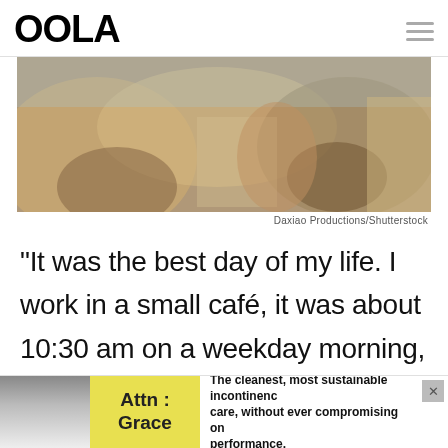OOLA
[Figure (photo): People at a cafe table with food and drinks, warm tones, lifestyle photo]
Daxiao Productions/Shutterstock
“It was the best day of my life. I work in a small café, it was about 10:30 am on a weekday morning, nice and quiet. In comes this woman (must
[Figure (other): Advertisement banner: Attn: Grace - The cleanest, most sustainable incontinence care, without ever compromising on performance.]